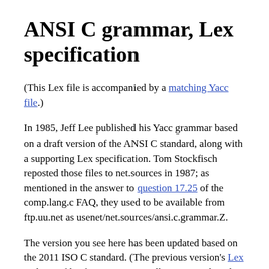ANSI C grammar, Lex specification
(This Lex file is accompanied by a matching Yacc file.)
In 1985, Jeff Lee published his Yacc grammar based on a draft version of the ANSI C standard, along with a supporting Lex specification. Tom Stockfisch reposted those files to net.sources in 1987; as mentioned in the answer to question 17.25 of the comp.lang.c FAQ, they used to be available from ftp.uu.net as usenet/net.sources/ansi.c.grammar.Z.
The version you see here has been updated based on the 2011 ISO C standard. (The previous version's Lex and Yacc files for ANSI C9X still exist as archived copies.)
It is assumed that translation phases 1..5 have already been completed before calling the scanner.